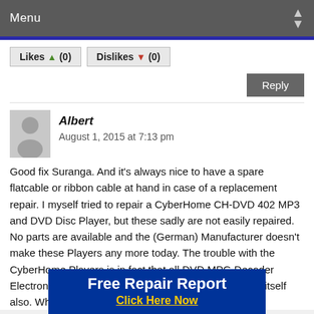Menu
Likes (0)  Dislikes (0)
Reply
Albert
August 1, 2015 at 7:13 pm
Good fix Suranga. And it's always nice to have a spare flatcable or ribbon cable at hand in case of a replacement repair. I myself tried to repair a CyberHome CH-DVD 402 MP3 and DVD Disc Player, but these sadly are not easily repaired. No parts are available and the (German) Manufacturer doesn't make these Players any more today. The trouble with the CyberHome Players is in fact that all DVD MPG Decoder Electronics is integrated into the DVD player controller itself also. Which means that if the DVD pl... ore your Cy... And
[Figure (infographic): Blue ad banner overlay: 'Free Repair Report' in white bold text, 'Click Here Now' in yellow bold underlined text on dark blue background]